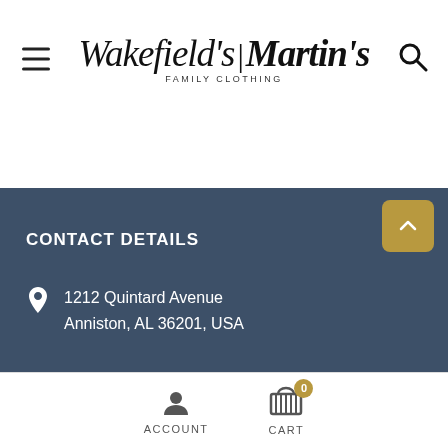Wakefield's | Martin's Family Clothing
CONTACT DETAILS
1212 Quintard Avenue
Anniston, AL 36201, USA
ACCOUNT  CART  0